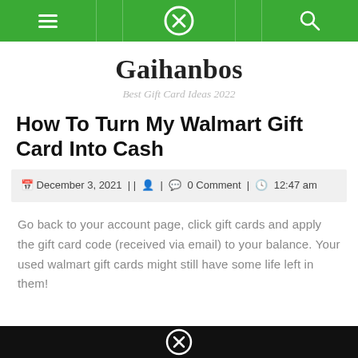Gaihanbos - Best Gift Card Ideas 2022 [navigation bar]
Gaihanbos
Best Gift Card Ideas 2022
How To Turn My Walmart Gift Card Into Cash
December 3, 2021 | | | 0 Comment | 12:47 am
Go back to your account page, click gift cards and apply the gift card code (received via email) to your balance. Your used walmart gift cards might still have some life left in them!
[Figure (other): Bottom dark banner with X-circle icon (advertisement or navigation element)]